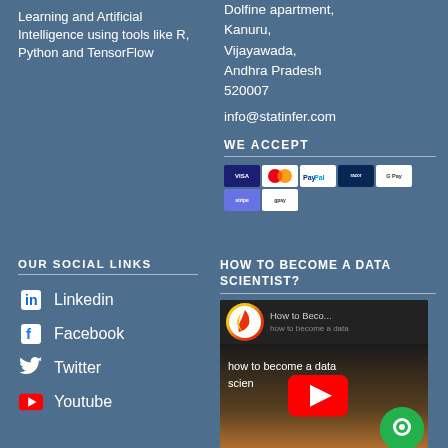Learning and Artificial Intelligence using tools like R, Python and TensorFlow
Dolfine apartment, Kanuru, Vijayawada, Andhra Pradesh 520007
info@statinfer.com
WE ACCEPT
[Figure (other): Payment method icons: Visa, Mastercard, PayPal, Razorpay, GPay, Stripe, Gpay]
OUR SOCIAL LINKS
Linkedin
Facebook
Twitter
Youtube
HOW TO BECOME A DATA SCIENTIST?
[Figure (screenshot): YouTube video thumbnail showing 'How to Beco...' with text 'How to become a data scientist' and a red play button in the center. A green chat button overlay is in the bottom right corner.]